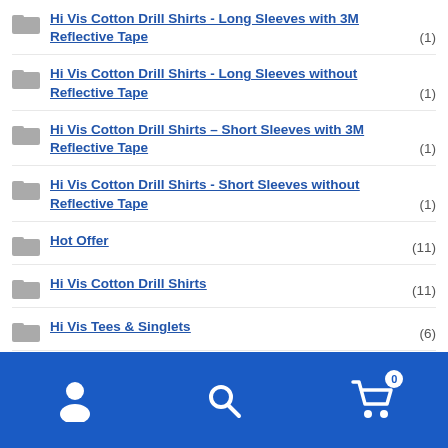Hi Vis Cotton Drill Shirts - Long Sleeves with 3M Reflective Tape (1)
Hi Vis Cotton Drill Shirts - Long Sleeves without Reflective Tape (1)
Hi Vis Cotton Drill Shirts – Short Sleeves with 3M Reflective Tape (1)
Hi Vis Cotton Drill Shirts - Short Sleeves without Reflective Tape (1)
Hot Offer (11)
Hi Vis Cotton Drill Shirts (11)
Hi Vis Tees & Singlets (6)
Work Shirts (2)
Work Polo (1)